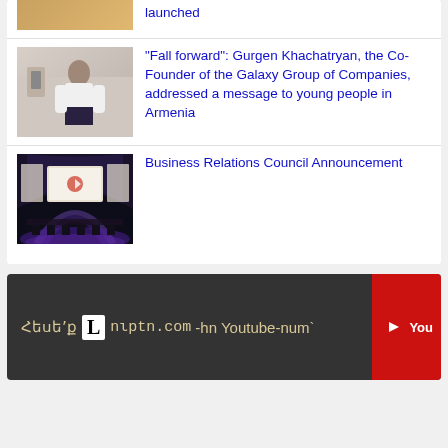[Figure (photo): Partial top image, cropped at top of page]
launched
[Figure (photo): Photo of Gurgen Khachatryan, man in white shirt standing in room]
"Fall forward": Gurgen Khachatryan, the Co-Founder of the Galaxy Group of Companies, addressed a message to young people in Armenia
[Figure (photo): Photo of a conference hall with large screen and arched ceiling with purple lighting]
Business Relations Council Announcement
[Figure (logo): Lurer.com YouTube banner in Armenian: Հեսե՛ք Lniptn.com-hin Youtube-num` with YouTube button]